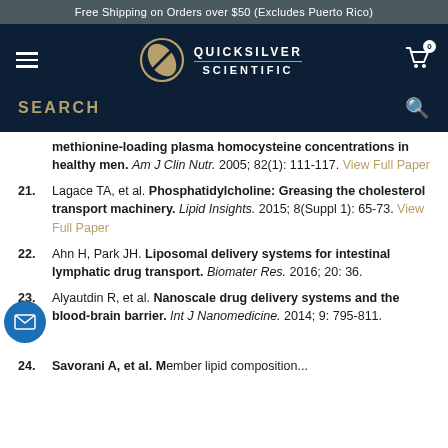Free Shipping on Orders over $50 (Excludes Puerto Rico)
[Figure (logo): Quicksilver Scientific logo with navigation bar and search bar on dark navy background]
methionine-loading plasma homocysteine concentrations in healthy men. Am J Clin Nutr. 2005; 82(1): 111-117. View Full Paper
21. Lagace TA, et al. Phosphatidylcholine: Greasing the cholesterol transport machinery. Lipid Insights. 2015; 8(Suppl 1): 65-73. View Full Paper
22. Ahn H, Park JH. Liposomal delivery systems for intestinal lymphatic drug transport. Biomater Res. 2016; 20: 36.
23. Alyautdin R, et al. Nanoscale drug delivery systems and the blood-brain barrier. Int J Nanomedicine. 2014; 9: 795-811.